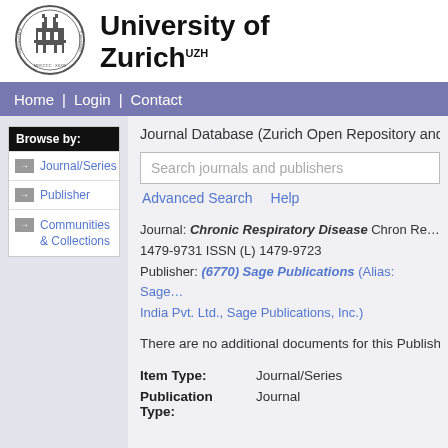[Figure (logo): University of Zurich circular seal/crest logo in black and white]
University of Zurich UZH
Home | Login | Contact
Journal Database (Zurich Open Repository and Ar...
Search journals and publishers
Advanced Search   Help
Journal: Chronic Respiratory Disease Chron Re... 1479-9731 ISSN (L) 1479-9723 Publisher: (6770) Sage Publications (Alias: Sage India Pvt. Ltd., Sage Publications, Inc.)
There are no additional documents for this Publishe...
| Field | Value |
| --- | --- |
| Item Type: | Journal/Series |
| Publication Type: | Journal |